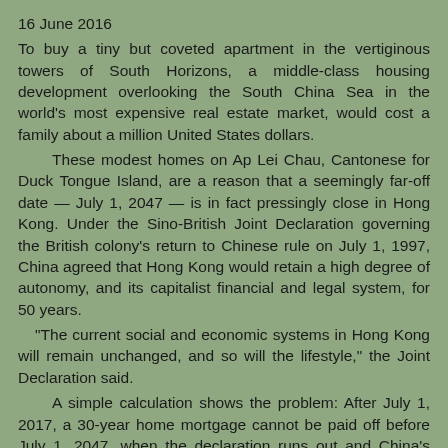16 June 2016
To buy a tiny but coveted apartment in the vertiginous towers of South Horizons, a middle-class housing development overlooking the South China Sea in the world's most expensive real estate market, would cost a family about a million United States dollars.
These modest homes on Ap Lei Chau, Cantonese for Duck Tongue Island, are a reason that a seemingly far-off date — July 1, 2047 — is in fact pressingly close in Hong Kong. Under the Sino-British Joint Declaration governing the British colony's return to Chinese rule on July 1, 1997, China agreed that Hong Kong would retain a high degree of autonomy, and its capitalist financial and legal system, for 50 years.
“The current social and economic systems in Hong Kong will remain unchanged, and so will the lifestyle,” the Joint Declaration said.
A simple calculation shows the problem: After July 1, 2017, a 30-year home mortgage cannot be paid off before July 1, 2047, when the declaration runs out and China’s promises expire along with it.